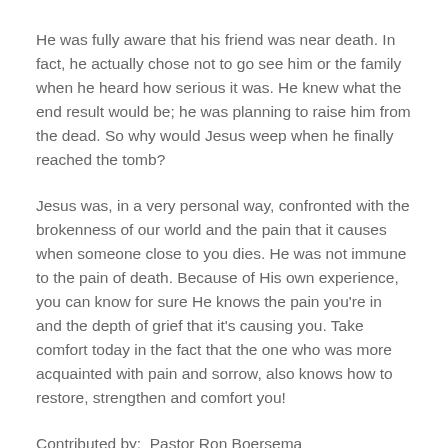He was fully aware that his friend was near death. In fact, he actually chose not to go see him or the family when he heard how serious it was. He knew what the end result would be; he was planning to raise him from the dead. So why would Jesus weep when he finally reached the tomb?
Jesus was, in a very personal way, confronted with the brokenness of our world and the pain that it causes when someone close to you dies. He was not immune to the pain of death. Because of His own experience, you can know for sure He knows the pain you're in and the depth of grief that it's causing you. Take comfort today in the fact that the one who was more acquainted with pain and sorrow, also knows how to restore, strengthen and comfort you!
Contributed by:  Pastor Ron Boersema